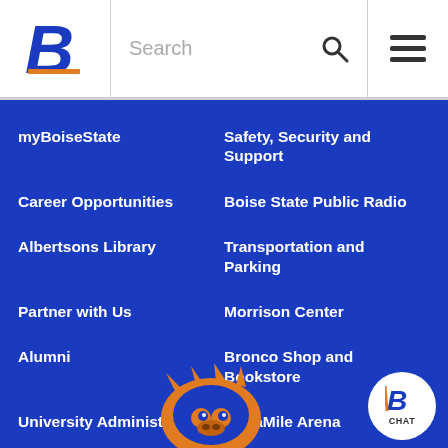[Figure (logo): Boise State University stylized B logo in blue and orange]
Search
[Figure (logo): Hamburger menu icon (three horizontal lines)]
myBoiseState
Safety, Security and Support
Career Opportunities
Boise State Public Radio
Albertsons Library
Transportation and Parking
Partner with Us
Morrison Center
Alumni
Bronco Shop and Bookstore
University Administration
ExtraMile Arena
[Figure (illustration): Boise State University Bronco mascot head illustration in orange and blue]
[Figure (logo): Boise State chat button with B logo and CHAT text]